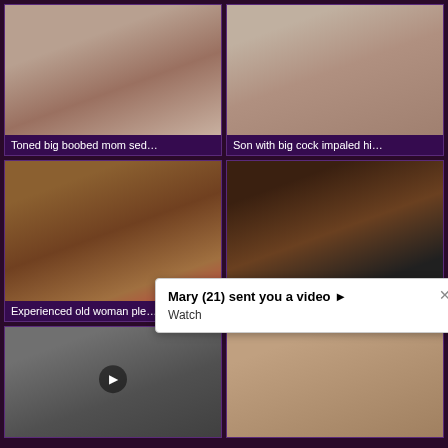[Figure (photo): Thumbnail: woman in bathroom, lingerie]
Toned big boobed mom sed…
[Figure (photo): Thumbnail: woman in shower]
Son with big cock impaled hi…
[Figure (photo): Thumbnail: older woman on couch with man]
Experienced old woman ple…
[Figure (photo): Thumbnail: dark close-up scene]
Divine daughter is giving a s…
[Figure (photo): Thumbnail: bottom left video with play button]
[Figure (photo): Thumbnail: bottom right skin-tone scene]
Mary (21) sent you a video ▶
Watch